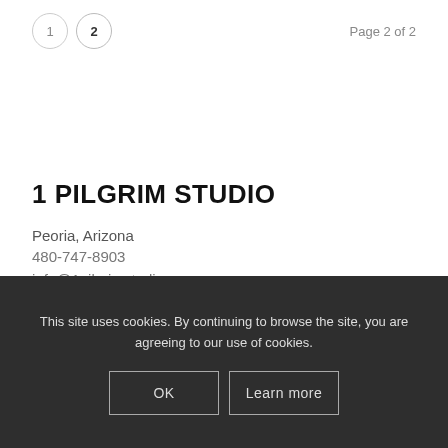1  2  Page 2 of 2
1 PILGRIM STUDIO
Peoria, Arizona
480-747-8903
info@1pilgrimstudio.com
This site uses cookies. By continuing to browse the site, you are agreeing to our use of cookies.
OK
Learn more